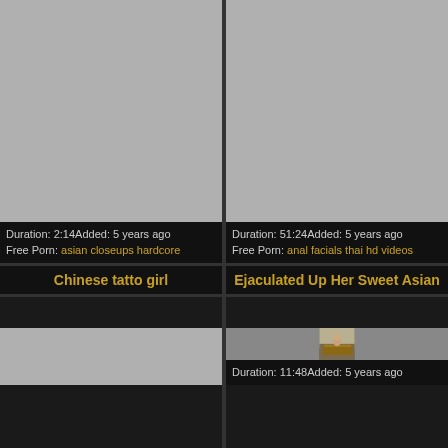[Figure (photo): Gray placeholder thumbnail for video 1]
Duration: 2:14Added: 5 years ago
Free Porn: asian closeups hardcore
[Figure (photo): Gray placeholder thumbnail for video 2]
Duration: 51:24Added: 5 years ago
Free Porn: anal facials thai hd videos
Chinese tatto girl
Ejaculated Up Her Sweet Asian
[Figure (photo): Gray placeholder thumbnail for Chinese tatto girl video]
[Figure (photo): Photo thumbnail for Ejaculated Up Her Sweet Asian video showing a woman]
Duration: 11:48Added: 5 years ago